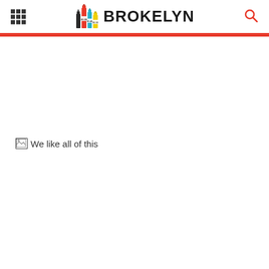BROKELYN
[Figure (photo): Broken image placeholder with alt text 'We like all of this']